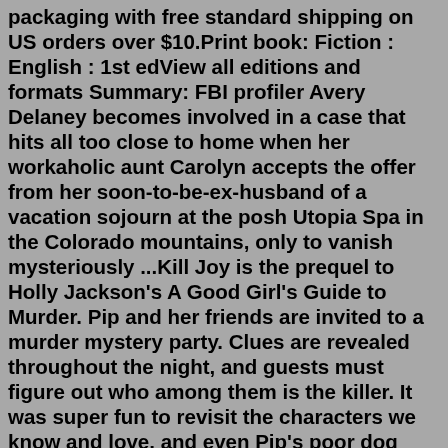packaging with free standard shipping on US orders over $10.Print book: Fiction : English : 1st edView all editions and formats Summary: FBI profiler Avery Delaney becomes involved in a case that hits all too close to home when her workaholic aunt Carolyn accepts the offer from her soon-to-be-ex-husband of a vacation sojourn at the posh Utopia Spa in the Colorado mountains, only to vanish mysteriously ...Kill Joy is the prequel to Holly Jackson's A Good Girl's Guide to Murder. Pip and her friends are invited to a murder mystery party. Clues are revealed throughout the night, and guests must figure out who among them is the killer. It was super fun to revisit the characters we know and love, and even Pip's poor dog gets a mention.electronic music killjoy kill joy campaign mix. electronic music. Addeddate. 2013-09-07 09:57:21. Identifier. Killjoy. Scanner. Internet Archive HTML5 Uploader 1.4.1. 132 Views. Sep 17, 2002 · In this breathless new novel, Julie Garwood has written her most electrifying thriller to date. Avery Delaney has always tried to put the past far behind